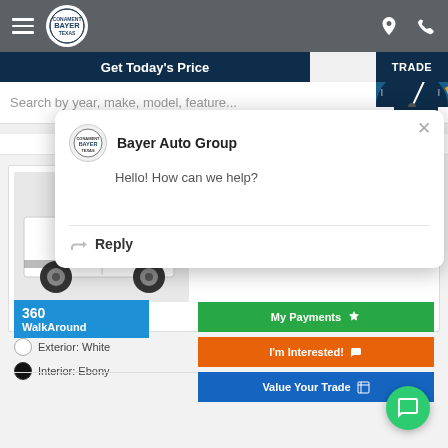Bayer Auto Group navigation bar
Get Today's Price
TRADE
Search by year, make, model, feature...   Refine
New 2022
2022 Ford Transit Connect XL
[Figure (photo): White 2022 Ford Transit Connect XL van, front 3/4 view]
360 WalkAround
Exterior: White
Interior: Ebony
My Payments
I'm Interested!
Value Your Trade
Bayer Auto Group
Hello! How can we help?
Reply